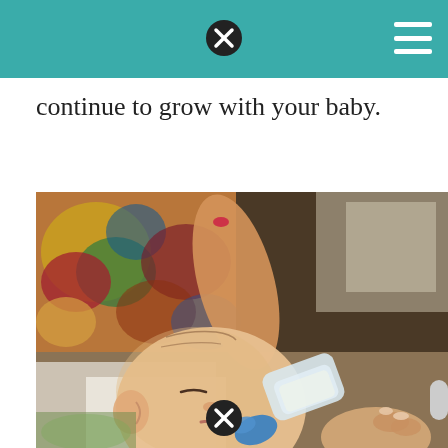continue to grow with your baby.
[Figure (photo): Close-up photo of a baby drinking from a bottle, held by an adult. The baby's head is visible in the lower portion, sucking on a blue-capped bottle. A colorful patterned rug or tapestry is visible in the blurred background, along with what appears to be an adult's foot.]